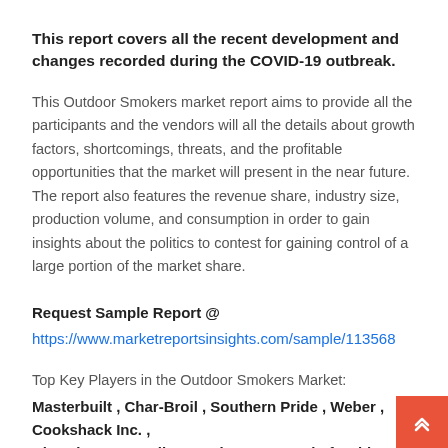This report covers all the recent development and changes recorded during the COVID-19 outbreak.
This Outdoor Smokers market report aims to provide all the participants and the vendors will all the details about growth factors, shortcomings, threats, and the profitable opportunities that the market will present in the near future. The report also features the revenue share, industry size, production volume, and consumption in order to gain insights about the politics to contest for gaining control of a large portion of the market share.
Request Sample Report @
https://www.marketreportsinsights.com/sample/113568
Top Key Players in the Outdoor Smokers Market:
Masterbuilt , Char-Broil , Southern Pride , Weber , Cookshack Inc. , Alto-Shaam , Bradley Smoker , Camp Chef , Old Smokey , Landmann , Smoke Hollow